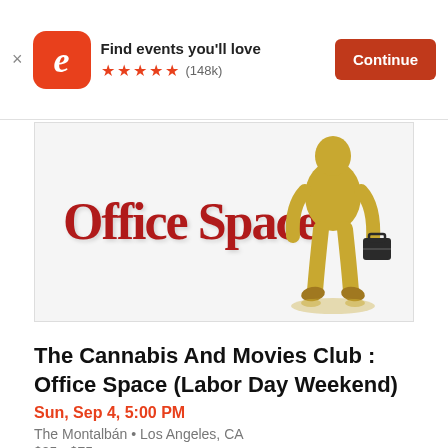[Figure (screenshot): Eventbrite app banner with orange 'e' logo icon, text 'Find events you’ll love', five orange stars, rating '(148k)', and orange 'Continue' button]
[Figure (photo): Office Space movie promotional image: red stylized 'Office Space' logo text on left, gold-colored person in a suit holding briefcase on right against light background]
The Cannabis And Movies Club : Office Space (Labor Day Weekend)
Sun, Sep 4, 5:00 PM
The Montalbán • Los Angeles, CA
$25 - $75